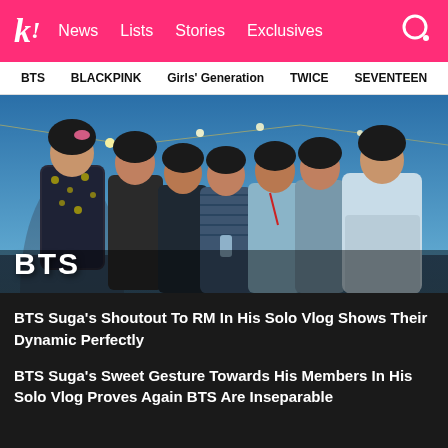k! News Lists Stories Exclusives
BTS BLACKPINK Girls' Generation TWICE SEVENTEEN
[Figure (photo): Group photo of BTS members posing outdoors at dusk with string lights, some wearing floral and pastel outfits. The word BTS appears in white bold text at the bottom left.]
BTS Suga's Shoutout To RM In His Solo Vlog Shows Their Dynamic Perfectly
BTS Suga's Sweet Gesture Towards His Members In His Solo Vlog Proves Again BTS Are Inseparable